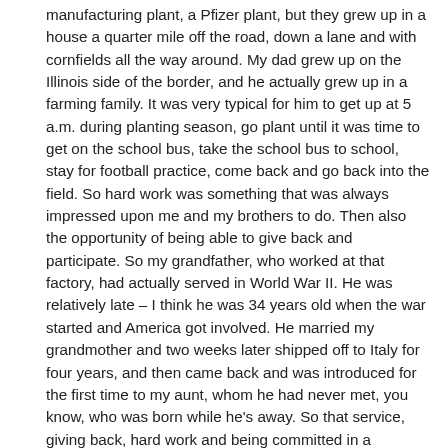manufacturing plant, a Pfizer plant, but they grew up in a house a quarter mile off the road, down a lane and with cornfields all the way around. My dad grew up on the Illinois side of the border, and he actually grew up in a farming family. It was very typical for him to get up at 5 a.m. during planting season, go plant until it was time to get on the school bus, take the school bus to school, stay for football practice, come back and go back into the field. So hard work was something that was always impressed upon me and my brothers to do. Then also the opportunity of being able to give back and participate. So my grandfather, who worked at that factory, had actually served in World War II. He was relatively late – I think he was 34 years old when the war started and America got involved. He married my grandmother and two weeks later shipped off to Italy for four years, and then came back and was introduced for the first time to my aunt, whom he had never met, you know, who was born while he's away. So that service, giving back, hard work and being committed in a sacrificial manner is something that my family has always, always had.